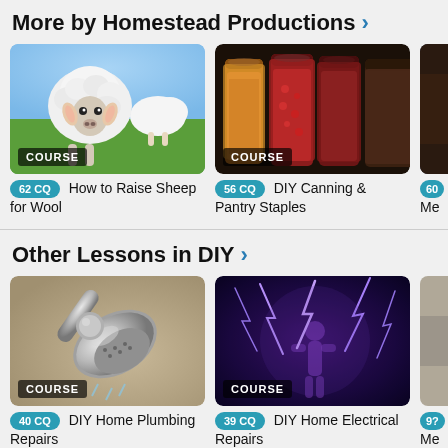More by Homestead Productions ›
[Figure (photo): Sheep in a green field, white fluffy lambs facing camera]
[Figure (photo): Colorful jars of preserved canned goods lined up]
[Figure (photo): Partially visible third course thumbnail]
62 CQ  How to Raise Sheep for Wool
56 CQ  DIY Canning & Pantry Staples
Other Lessons in DIY ›
[Figure (photo): Close-up of a chrome shower head on beige background]
[Figure (photo): Electric lightning bolts on dark purple/blue background with human figure silhouette]
[Figure (photo): Partially visible third course thumbnail]
40 CQ  DIY Home Plumbing Repairs
39 CQ  DIY Home Electrical Repairs